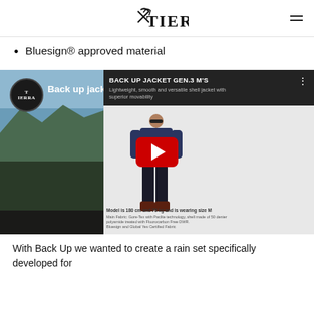TIERRA
Bluesign® approved material
[Figure (screenshot): YouTube video thumbnail for 'Back up jacket Gen 3 M V2' by Tierra. Shows a man wearing a navy blue shell jacket standing against a white background on the right side, and an aerial mountain/fjord landscape on the left. A red YouTube play button is centered. Text overlay reads: BACK UP JACKET GEN.3 M'S - Lightweight, smooth and versatile shell jacket with superior movability. Model is 180 cm and 78 kg and is wearing size M.]
With Back Up we wanted to create a rain set specifically developed for